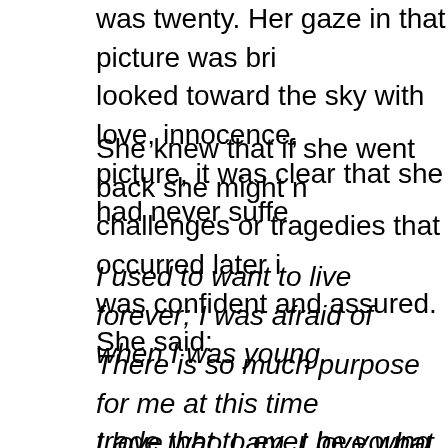was twenty. Her gaze in that picture was bright; she looked toward the sky with love, innocence, and hope. In that picture, it was clear that she had never suffered.
She knew that if she went back she might not avoid the challenges or tragedies that occurred later in life, but she was confident and assured. She said:
I used to want to live forever; I was afraid of death when I was young.
There is so much purpose for me at this time. I wouldn't trade that to ever be young again. I understand my time on this earth is finite, and that makes my life even more precious.
I love who I am. I love what I am doing. That has made me appreciate my life, my husband, my children
The music from my heart is a blessing tha…